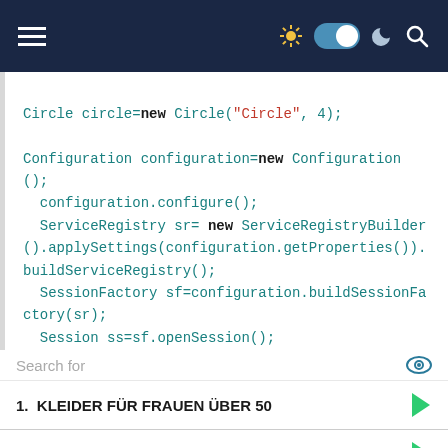Navigation bar with hamburger menu, theme toggle, and search icon
[Figure (screenshot): Code snippet showing Java Hibernate code: Circle circle=new Circle('Circle', 4); Configuration configuration=new Configuration(); configuration.configure(); ServiceRegistry sr= new ServiceRegistryBuilder().applySettings(configuration.getProperties()).buildServiceRegistry(); SessionFactory sf=configuration.buildSessionFactory(sr); Session ss=sf.openSession(); ss.beginTransaction(); ss.save(shape);]
Search for
1. KLEIDER FÜR FRAUEN ÜBER 50
2. MEILLEUR DENTIFRICE